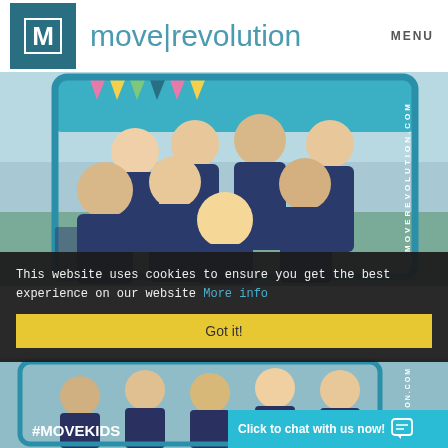[Figure (logo): Move Revolution logo with teal M in a square box and brand name 'move|revolution' in teal, plus MENU text on the right]
[Figure (photo): Group photo of Move Revolution team members in navy polo shirts holding a teal branded photo frame prop with colorful bunting, outdoors]
This website uses cookies to ensure you get the best experience on our website More info
Got it!
[Figure (photo): Partial group photo of Move Revolution team outdoors with teal branded frame showing #MOVEKIDS text, with 'Click to chat with us now!' button overlay]